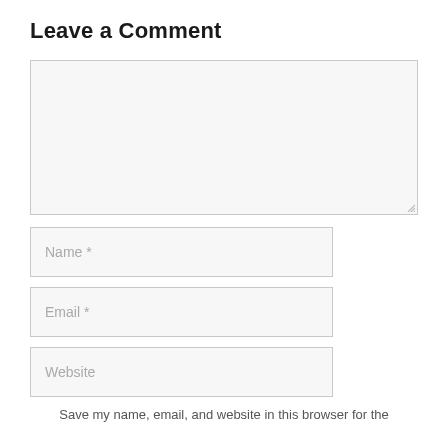Leave a Comment
[Figure (screenshot): Large empty comment textarea input box with light gray background and border, with resize handle at bottom right]
[Figure (screenshot): Name input field with placeholder text 'Name *']
[Figure (screenshot): Email input field with placeholder text 'Email *']
[Figure (screenshot): Website input field with placeholder text 'Website']
Save my name, email, and website in this browser for the